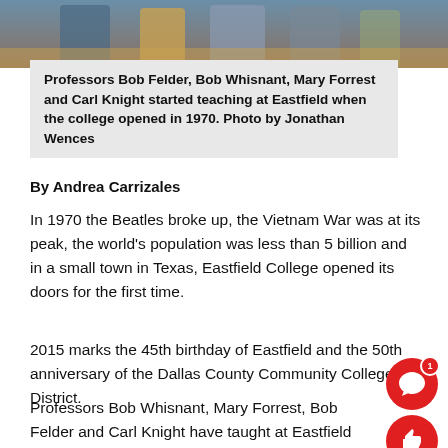[Figure (photo): Partial photo of professors at a table, visible from shoulders/torso area, appearing to be at an event with a gold tablecloth]
Professors Bob Felder, Bob Whisnant, Mary Forrest and Carl Knight started teaching at Eastfield when the college opened in 1970. Photo by Jonathan Wences
By Andrea Carrizales
In 1970 the Beatles broke up, the Vietnam War was at its peak, the world's population was less than 5 billion and in a small town in Texas, Eastfield College opened its doors for the first time.
2015 marks the 45th birthday of Eastfield and the 50th anniversary of the Dallas County Community College District.
Professors Bob Whisnant, Mary Forrest, Bob Felder and Carl Knight have taught at Eastfield since the beginning. Through eight presidents and before computers were popular, these professors have made Eastfield their